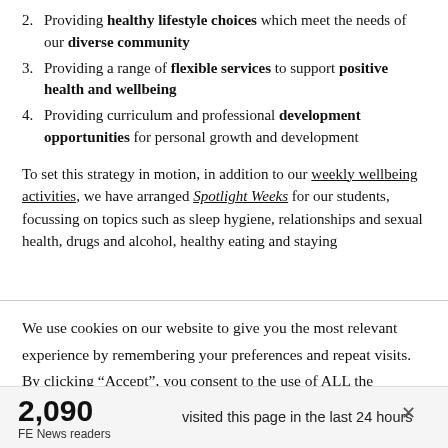2. Providing healthy lifestyle choices which meet the needs of our diverse community
3. Providing a range of flexible services to support positive health and wellbeing
4. Providing curriculum and professional development opportunities for personal growth and development
To set this strategy in motion, in addition to our weekly wellbeing activities, we have arranged Spotlight Weeks for our students, focussing on topics such as sleep hygiene, relationships and sexual health, drugs and alcohol, healthy eating and staying
We use cookies on our website to give you the most relevant experience by remembering your preferences and repeat visits. By clicking “Accept”, you consent to the use of ALL the cookies. However you may visit Cookie
2,090 FE News readers visited this page in the last 24 hours